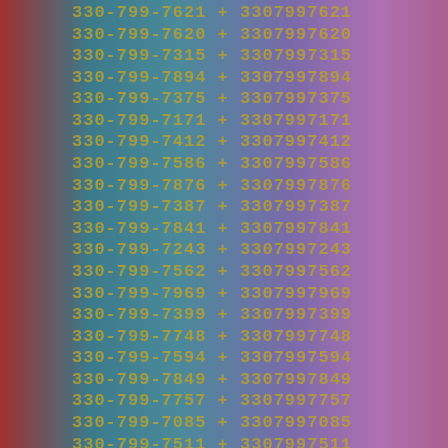330-799-7621 + 3307997621
330-799-7620 + 3307997620
330-799-7315 + 3307997315
330-799-7894 + 3307997894
330-799-7375 + 3307997375
330-799-7171 + 3307997171
330-799-7412 + 3307997412
330-799-7586 + 3307997586
330-799-7876 + 3307997876
330-799-7387 + 3307997387
330-799-7841 + 3307997841
330-799-7243 + 3307997243
330-799-7562 + 3307997562
330-799-7969 + 3307997969
330-799-7399 + 3307997399
330-799-7748 + 3307997748
330-799-7594 + 3307997594
330-799-7849 + 3307997849
330-799-7757 + 3307997757
330-799-7085 + 3307997085
330-799-7511 + 3307997511
330-799-7221 + 3307997221
330-799-7567 + 3307997567